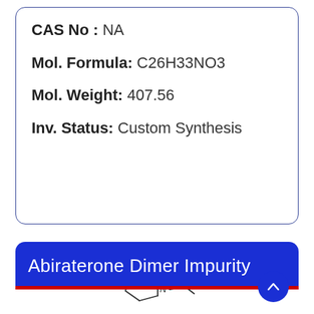CAS No : NA
Mol. Formula: C26H33NO3
Mol. Weight: 407.56
Inv. Status: Custom Synthesis
Abiraterone Dimer Impurity
[Figure (illustration): Partial molecular structure diagram showing a pyridine ring with N label, beginning of a larger steroid-based molecule structure]